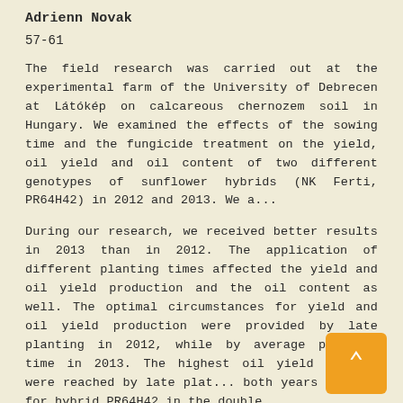Adrienn Novak
57-61
The field research was carried out at the experimental farm of the University of Debrecen at Látókép on calcareous chernozem soil in Hungary. We examined the effects of the sowing time and the fungicide treatment on the yield, oil yield and oil content of two different genotypes of sunflower hybrids (NK Ferti, PR64H42) in 2012 and 2013. We a...
During our research, we received better results in 2013 than in 2012. The application of different planting times affected the yield and oil yield production and the oil content as well. The optimal circumstances for yield and oil yield production were provided by late planting in 2012, while by average planting time in 2013. The highest oil yield results were reached by late plat... both years (except for hybrid PR64H42 in the double